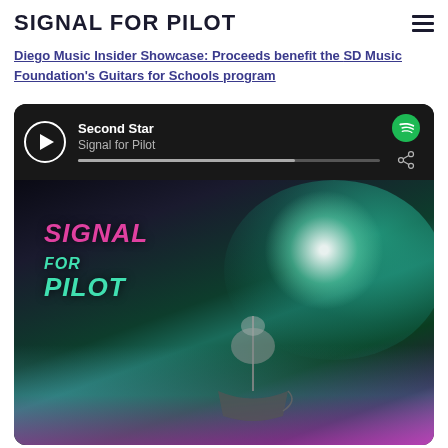SIGNAL FOR PILOT
Diego Music Insider Showcase: Proceeds benefit the SD Music Foundation's Guitars for Schools program
[Figure (screenshot): Spotify embedded player showing 'Second Star' by Signal for Pilot with album art featuring the band name in pink/teal text over a dark atmospheric background with a sailing ship silhouette]